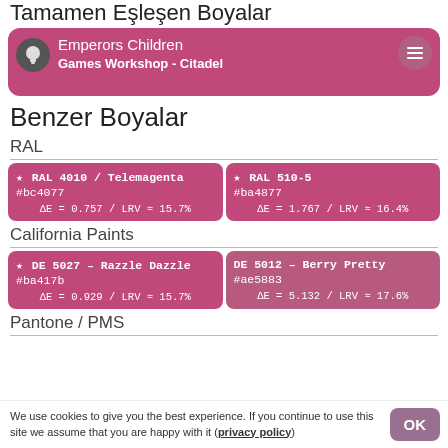Tamamen Eşleşen Boyalar
Emperors Children
Games Workshop - Citadel
Benzer Boyalar
RAL
| Color 1 | Color 2 |
| --- | --- |
| ★ RAL 4010 / Telemagenta
#bc4077
ΔE = 0.757 / LRV ≈ 15.7% | ★ RAL 510-5
#ba4877
ΔE = 1.767 / LRV ≈ 16.4% |
California Paints
| Color 1 | Color 2 |
| --- | --- |
| ★ DE 5027 – Razzle Dazzle
#ba417b
ΔE = 0.929 / LRV ≈ 15.7% | DE 5012 – Berry Pretty
#ae5883
ΔE = 5.132 / LRV ≈ 17.6% |
Pantone / PMS
We use cookies to give you the best experience. If you continue to use this site we assume that you are happy with it (privacy policy)